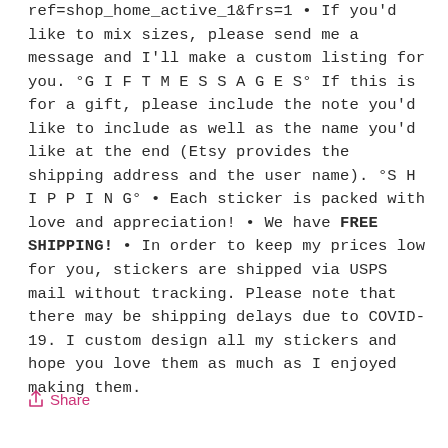ref=shop_home_active_1&frs=1 • If you'd like to mix sizes, please send me a message and I'll make a custom listing for you. °G I F T M E S S A G E S° If this is for a gift, please include the note you'd like to include as well as the name you'd like at the end (Etsy provides the shipping address and the user name). °S H I P P I N G° • Each sticker is packed with love and appreciation! • We have FREE SHIPPING! • In order to keep my prices low for you, stickers are shipped via USPS mail without tracking. Please note that there may be shipping delays due to COVID-19. I custom design all my stickers and hope you love them as much as I enjoyed making them.
Share